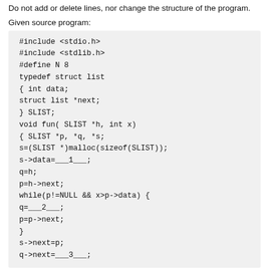Do not add or delete lines, nor change the structure of the program.
Given source program:
[Figure (screenshot): Code block showing a C program with #include <stdio.h>, #include <stdlib.h>, #define N 8, typedef struct list, { int data;, struct list *next;, } SLIST;, void fun( SLIST *h, int x), { SLIST *p, *q, *s;, s=(SLIST *)malloc(sizeof(SLIST));, s->data=___1___;, q=h;, p=h->next;, while(p!=NULL && x>p->data) {, q=___2___;, p=p->next;, }, s->next=p;, q->next=___3__;]